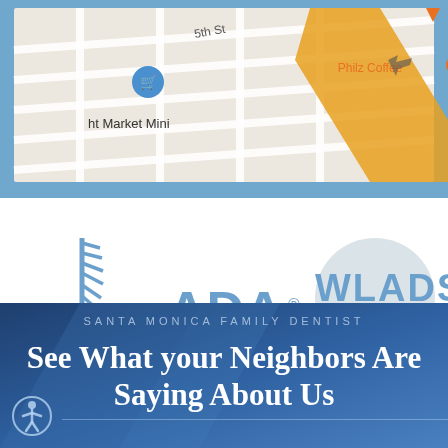[Figure (map): Google Maps screenshot showing street map with pins for Philz Coffee, ht Market Mini, Fritto Mis Italian restaurant. Shows 5th St and a diagonal yellow road.]
[Figure (logo): Three dental association logos: CDA (California Dental Association), ADA (American Dental Association), WLADS (West Los Angeles Dental Society)]
SANTA MONICA FAMILY DENTIST
See What your Neighbors Are Saying About Us